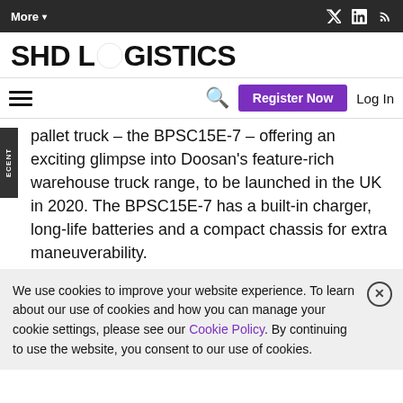More▾  [Twitter] [LinkedIn] [RSS]
SHD LOGISTICS
☰  🔍  Register Now  Log In
pallet truck – the BPSC15E-7 – offering an exciting glimpse into Doosan's feature-rich warehouse truck range, to be launched in the UK in 2020. The BPSC15E-7 has a built-in charger, long-life batteries and a compact chassis for extra maneuverability.
We use cookies to improve your website experience. To learn about our use of cookies and how you can manage your cookie settings, please see our Cookie Policy. By continuing to use the website, you consent to our use of cookies.